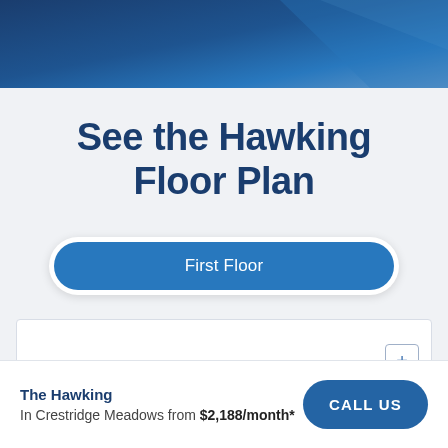[Figure (photo): Dark blue banner image at the top of the page, showing a gradient blue background suggesting an architectural/real estate photo.]
See the Hawking Floor Plan
First Floor
[Figure (other): White box representing a floor plan preview area with a plus (+) zoom button in the bottom right corner.]
The Hawking
In Crestridge Meadows from $2,188/month*
CALL US